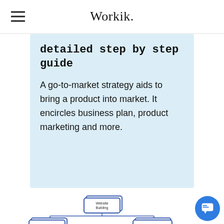Workik.
detailed step by step guide
A go-to-market strategy aids to bring a product into market. It encircles business plan, product marketing and more.
[Figure (flowchart): Organizational/flowchart diagram showing 'Website Building' at top, branching down to 'Coders' and 'Non-Coders', with further sub-branches below (partially visible).]